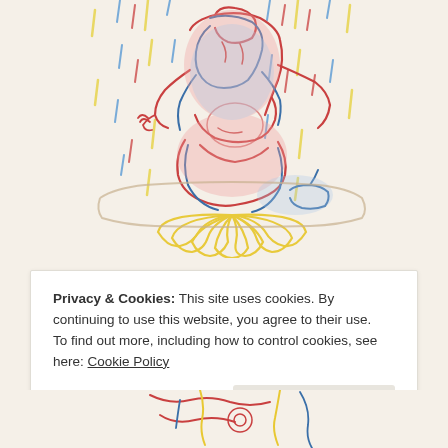[Figure (illustration): Colorful crayon/pencil illustration of a figure seated in a meditative lotus pose on a large flower (daisy/sunflower), with colorful rain or lines falling around the figure. The figure is drawn with overlapping red, blue, yellow, and pink lines on a warm beige background.]
Privacy & Cookies: This site uses cookies. By continuing to use this website, you agree to their use.
To find out more, including how to control cookies, see here: Cookie Policy
[Figure (illustration): Partial view of another colorful crayon illustration at the bottom of the page, cropped.]